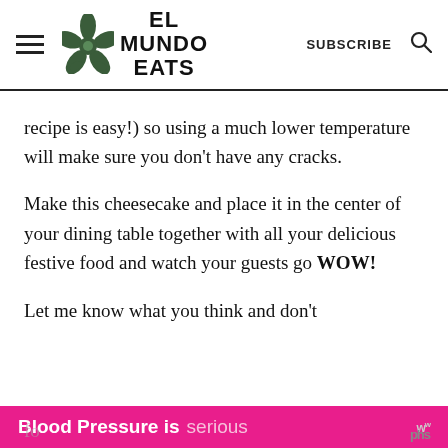EL MUNDO EATS | SUBSCRIBE
recipe is easy!) so using a much lower temperature will make sure you don't have any cracks.
Make this cheesecake and place it in the center of your dining table together with all your delicious festive food and watch your guests go WOW!
Let me know what you think and don't fo... Blood Pressure is serious ...phs
Blood Pressure is serious